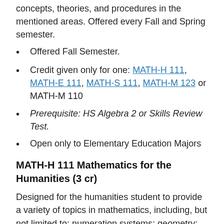111 is to provide the students with knowledge of the concepts, theories, and procedures in the mentioned areas. Offered every Fall and Spring semester.
Offered Fall Semester.
Credit given only for one: MATH-H 111, MATH-E 111, MATH-S 111, MATH-M 123 or MATH-M 110
Prerequisite: HS Algebra 2 or Skills Review Test.
Open only to Elementary Education Majors
MATH-H 111 Mathematics for the Humanities (3 cr)
Designed for the humanities student to provide a variety of topics in mathematics, including, but not limited to: numeration systems; geometry; financial management; statistics; set theory. The course also provides a general, historical perspective of mathematics and development of practical